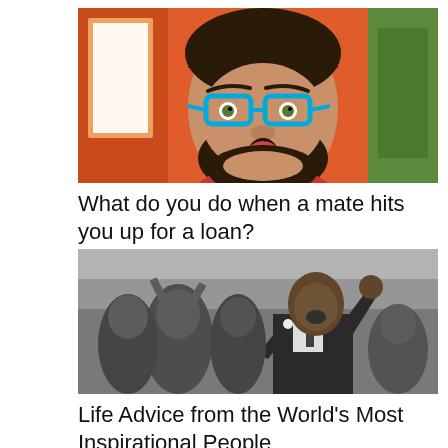[Figure (photo): Young bearded man with blue-rimmed glasses looking surprised, colorful background]
What do you do when a mate hits you up for a loan?
[Figure (photo): Black and white photo of Martin Luther King Jr. speaking to a large crowd, arm raised]
Life Advice from the World's Most Inspirational People
[Figure (photo): Christmas decorations: red fabric with snowflake pattern, silver tinsel, star bow ornament]
What to do With